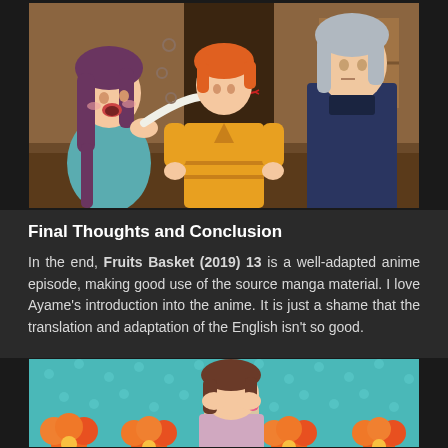[Figure (illustration): Anime screenshot from Fruits Basket (2019) episode 13 showing three anime characters - a girl with brown hair on the left, a boy with orange hair in the center holding a white snake, and a tall character with silver hair on the right, standing in what appears to be a doorway or indoor setting with warm brown/orange tones.]
Final Thoughts and Conclusion
In the end, Fruits Basket (2019) 13 is a well-adapted anime episode, making good use of the source manga material. I love Ayame's introduction into the anime. It is just a shame that the translation and adaptation of the English isn't so good.
[Figure (illustration): Anime screenshot from Fruits Basket (2019) showing a character with brown hair and pink hair tie on a teal/turquoise polka-dot background with orange flowers at the bottom, the character appears to be bowing or covering their face.]